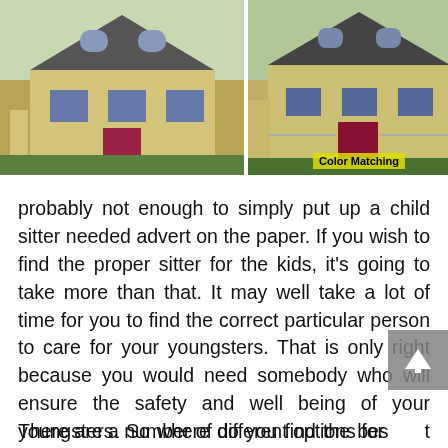[Figure (photo): Three side-by-side photos of houses with similar yellow/tan facades. The middle photo has a 'Color Matching' label overlay. The rightmost photo has a copyright watermark 'Copyright Munrayphome Inc.']
it   is
probably not enough to simply put up a child sitter needed advert on the paper. If you wish to find the proper sitter for the kids, it's going to take more than that. It may well take a lot of time for you to find the correct particular person to care for your youngsters. That is only right because you would need somebody who will ensure the safety and well being of your youngsters. So where do you find the best sitter?
There are a number of different options for...